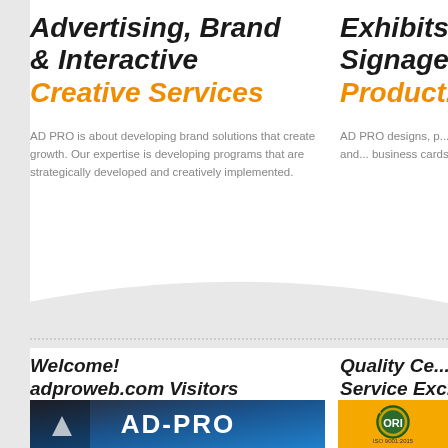Advertising, Brand & Interactive Creative Services
AD PRO is about developing brand solutions that create growth. Our expertise is developing programs that are strategically developed and creatively implemented.
Exhibits, Signage Product...
AD PRO designs, p... convention exhibits... banners, signs and... business cards to b...
Welcome! adproweb.com Visitors
Quality Ce... Service Exc...
[Figure (photo): AD-PRO illuminated sign on dark background, blue backlit signage]
[Figure (logo): ORI certification logo with ISO 9001:2015 text on orange background]